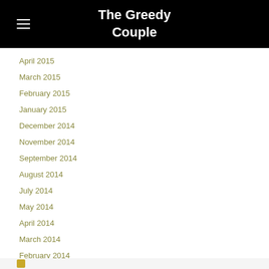The Greedy Couple
April 2015
March 2015
February 2015
January 2015
December 2014
November 2014
September 2014
August 2014
July 2014
May 2014
April 2014
March 2014
February 2014